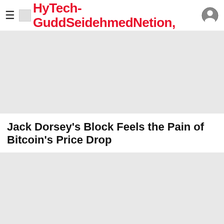HyTech-GuddSeidehmedNetion,
[Figure (photo): Gray placeholder image for article about Jack Dorsey's Block and Bitcoin price drop]
Jack Dorsey's Block Feels the Pain of Bitcoin's Price Drop
[Figure (photo): Gray placeholder image for article about PayPal crypto offensive after New York]
PayPal mounts crypto offensive after New York